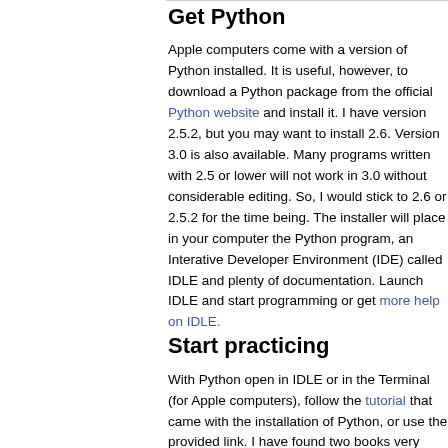Get Python
Apple computers come with a version of Python installed. It is useful, however, to download a Python package from the official Python website and install it. I have version 2.5.2, but you may want to install 2.6. Version 3.0 is also available. Many programs written with 2.5 or lower will not work in 3.0 without considerable editing. So, I would stick to 2.6 or 2.5.2 for the time being. The installer will place in your computer the Python program, an Interative Developer Environment (IDE) called IDLE and plenty of documentation. Launch IDLE and start programming or get more help on IDLE.
Start practicing
With Python open in IDLE or in the Terminal (for Apple computers), follow the tutorial that came with the installation of Python, or use the provided link. I have found two books very useful. The first is Learning Python by Mark Lutz. The second is Python Cookbook by Alex